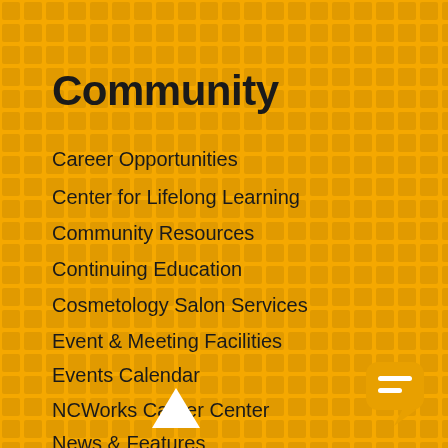Community
Career Opportunities
Center for Lifelong Learning
Community Resources
Continuing Education
Cosmetology Salon Services
Event & Meeting Facilities
Events Calendar
NCWorks Career Center
News & Features
Small Business Center
Visio[^]grams